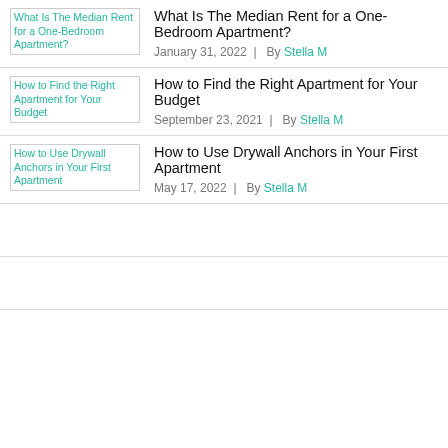[Figure (screenshot): Thumbnail image link: What Is The Median Rent for a One-Bedroom Apartment?]
What Is The Median Rent for a One-Bedroom Apartment?
January 31, 2022  |  By Stella M
[Figure (screenshot): Thumbnail image link: How to Find the Right Apartment for Your Budget]
How to Find the Right Apartment for Your Budget
September 23, 2021  |  By Stella M
[Figure (screenshot): Thumbnail image link: How to Use Drywall Anchors in Your First Apartment]
How to Use Drywall Anchors in Your First Apartment
May 17, 2022  |  By Stella M